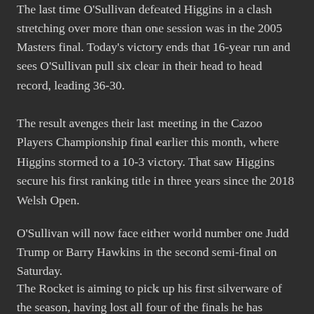The last time O'Sullivan defeated Higgins in a clash stretching over more than one session was in the 2005 Masters final. Today's victory ends that 16-year run and sees O'Sullivan pull six clear in their head to head record, leading 36-30.
The result avenges their last meeting in the Cazoo Players Championship final earlier this month, where Higgins stormed to a 10-3 victory. That saw Higgins secure his first ranking title in three years since the 2018 Welsh Open.
O'Sullivan will now face either world number one Judd Trump or Barry Hawkins in the second semi-final on Saturday.
The Rocket is aiming to pick up his first silverware of the season, having lost all four of the finals he has appeared in